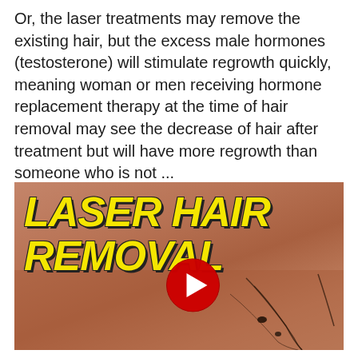Or, the laser treatments may remove the existing hair, but the excess male hormones (testosterone) will stimulate regrowth quickly, meaning woman or men receiving hormone replacement therapy at the time of hair removal may see the decrease of hair after treatment but will have more regrowth than someone who is not ...
[Figure (screenshot): YouTube video thumbnail for a video titled 'LASER HAIR REMOVAL'. Shows bold yellow italic text on a purple/dark background with a YouTube play button in the center. The lower portion shows a close-up image of skin with hair follicles.]